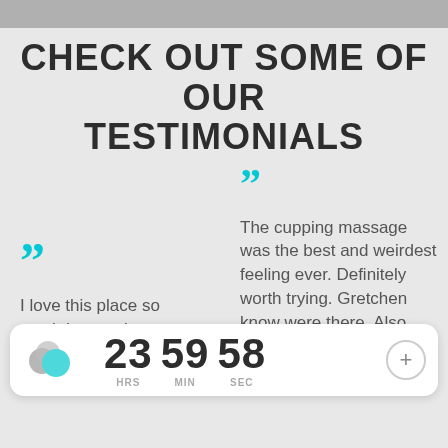CHECK OUT SOME OF OUR TESTIMONIALS
“” I love this place so much better place with managing my
“” The cupping massage was the best and weirdest feeling ever. Definitely worth trying. Gretchen know were there. Also, she is focused
[Figure (infographic): Timer widget showing 23 HRS 59 MIN 58 SEC with teal/grey circle logo and plus button]